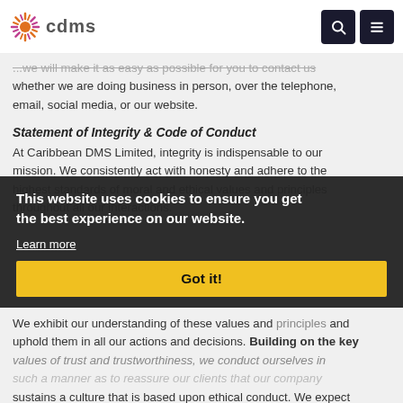cdms
...we will make it as easy as possible for you to contact us whether we are doing business in person, over the telephone, email, social media, or our website.
Statement of Integrity & Code of Conduct
At Caribbean DMS Limited, integrity is indispensable to our mission. We consistently act with honesty and adhere to the highest standards of moral and ethical values and principles thr...
[Figure (other): Cookie consent banner overlay with message 'This website uses cookies to ensure you get the best experience on our website.' with Learn more link and Got it! button]
We exhibit our understanding of these values and principles and uphold them in all our actions and decisions. Building on the key values of trust and trustworthiness, we conduct ourselves in such a manner as to reassure our clients that our company sustains a culture that is based upon ethical conduct. We expect our actions to be consistent with our words, and our words to